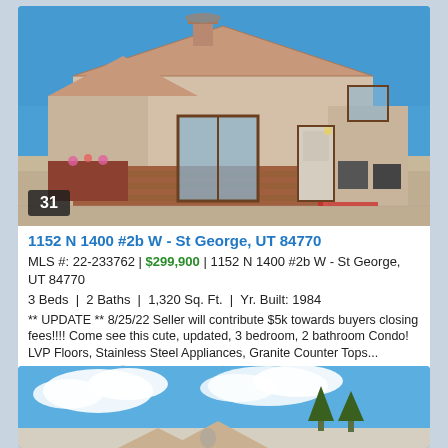[Figure (photo): Exterior photo of a beige stucco condo with a brown tile roof, brick retaining wall, sliding glass door, and exterior AC units, clear blue sky background. Number badge '31' in bottom left corner.]
1152 N 1400 #2b W - St George, UT 84770
MLS #: 22-233762 | $299,900 | 1152 N 1400 #2b W - St George, UT 84770
3 Beds | 2 Baths | 1,320 Sq. Ft. | Yr. Built: 1984
** UPDATE ** 8/25/22 Seller will contribute $5k towards buyers closing fees!!!! Come see this cute, updated, 3 bedroom, 2 bathroom Condo! LVP Floors, Stainless Steel Appliances, Granite Counter Tops...
🔍 View Details ⭐ Add To Favorites
[Figure (photo): Partial exterior photo of another property showing clouds and blue sky with treetops and roofline visible at bottom.]